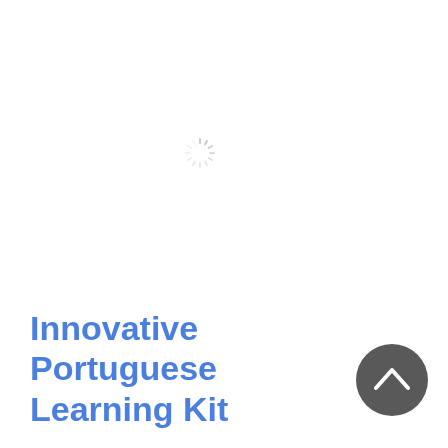[Figure (other): A spinning/loading indicator icon centered on the page, with radial lines in light gray]
[Figure (other): A dark gray circular button with an upward-pointing chevron/arrow, positioned at the bottom right]
Innovative Portuguese Learning Kit